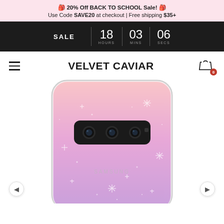🎒 20% Off BACK TO SCHOOL Sale! 🎒
Use Code SAVE20 at checkout | Free shipping $35+
[Figure (screenshot): Black countdown timer bar showing SALE with 18 HOURS, 03 MINS, 06 SECS]
VELVET CAVIAR
[Figure (photo): Samsung Galaxy S10+ phone case with glitter pink to purple ombre gradient design in a clear protective case, showing rear camera module]